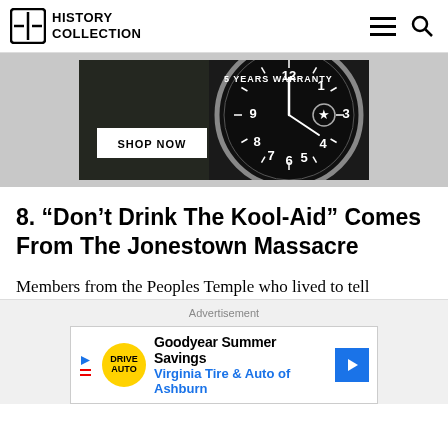HISTORY COLLECTION
[Figure (photo): Advertisement banner showing a close-up of a dark watch face with numbers, with text '5 YEARS WARRANTY' and a white button 'SHOP NOW']
8. “Don’t Drink The Kool-Aid” Comes From The Jonestown Massacre
Members from the Peoples Temple who lived to tell
Advertisement
[Figure (infographic): Goodyear Summer Savings advertisement - Virginia Tire & Auto of Ashburn]